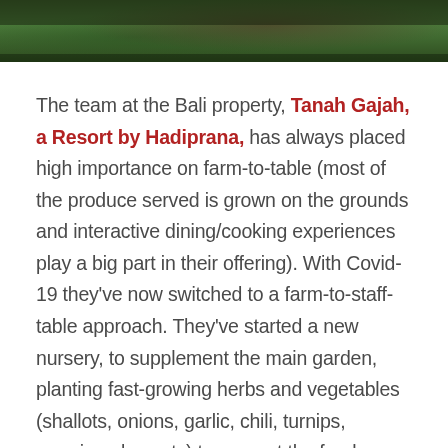[Figure (photo): Partial photo at top of page showing greenery/foliage with dark tones, cropped to a horizontal strip]
The team at the Bali property, Tanah Gajah, a Resort by Hadiprana, has always placed high importance on farm-to-table (most of the produce served is grown on the grounds and interactive dining/cooking experiences play a big part in their offering). With Covid-19 they've now switched to a farm-to-staff-table approach. They've started a new nursery, to supplement the main garden, planting fast-growing herbs and vegetables (shallots, onions, garlic, chili, turnips, morning glory, etc) to support the food needs of their staff. They are also giving out the Tilapia fish, which they have in their ponds, to their 126 staff and